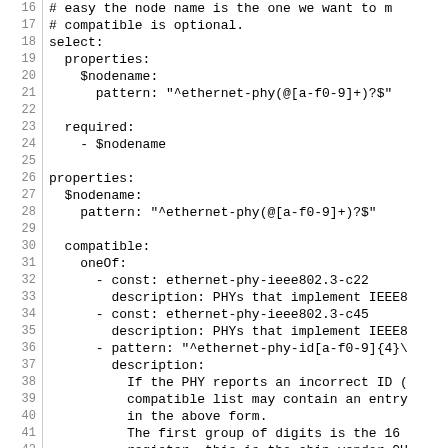Code listing lines 16-46: YAML/schema definition for ethernet-phy node properties including select, nodename pattern, required fields, properties, compatible, oneOf constraints with descriptions.